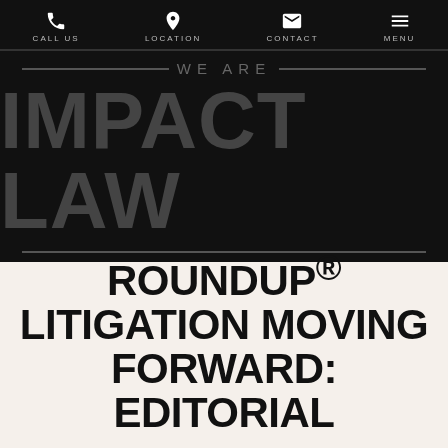CALL US | LOCATION | CONTACT | MENU
[Figure (logo): Impact Law law firm logo on dark background with 'WE ARE' above and 'IMPACT LAW' in large bold letters, flanked by horizontal lines]
ROUNDUP® LITIGATION MOVING FORWARD: EDITORIAL
ON MARCH 27, 2017